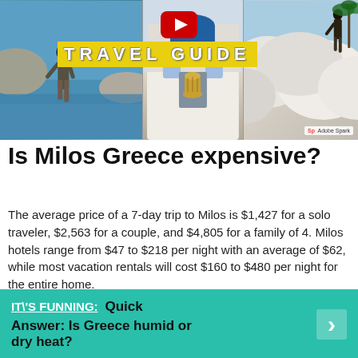[Figure (photo): YouTube Travel Guide thumbnail showing three panels: left panel with a woman walking by turquoise water, center panel with a white-walled Greek building and golden vase, right panel with white rock formations. A red YouTube play button is at top center, and a yellow banner reads 'TRAVEL GUIDE'. Adobe Spark badge in bottom right corner.]
Is Milos Greece expensive?
The average price of a 7-day trip to Milos is $1,427 for a solo traveler, $2,563 for a couple, and $4,805 for a family of 4. Milos hotels range from $47 to $218 per night with an average of $62, while most vacation rentals will cost $160 to $480 per night for the entire home.
IT\'S FUNNING: Quick Answer: Is Greece humid or dry heat?